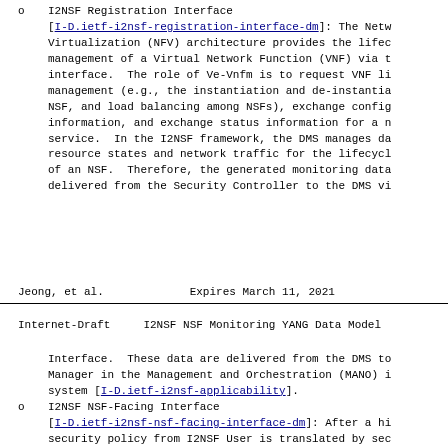I2NSF Registration Interface [I-D.ietf-i2nsf-registration-interface-dm]: The Network Functions Virtualization (NFV) architecture provides the lifecycle management of a Virtual Network Function (VNF) via the Ve-Vnfm interface. The role of Ve-Vnfm is to request VNF lifecycle management (e.g., the instantiation and de-instantiation of an NSF, and load balancing among NSFs), exchange configuration information, and exchange status information for a network service. In the I2NSF framework, the DMS manages data on resource states and network traffic for the lifecycle of an NSF. Therefore, the generated monitoring data are delivered from the Security Controller to the DMS via
Jeong, et al.                  Expires March 11, 2021
Internet-Draft      I2NSF NSF Monitoring YANG Data Model
Interface.  These data are delivered from the DMS to the Manager in the Management and Orchestration (MANO) i system [I-D.ietf-i2nsf-applicability].
I2NSF NSF-Facing Interface [I-D.ietf-i2nsf-nsf-facing-interface-dm]: After a high-level security policy from I2NSF User is translated by security policy translator [I-D.yang-i2nsf-security-policy-translation], by the Security Controller, the translated security policy